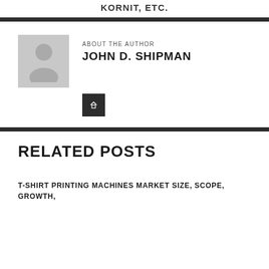KORNIT, ETC.
[Figure (photo): Author avatar placeholder image showing a silhouette of a person on grey background]
ABOUT THE AUTHOR
JOHN D. SHIPMAN
[Figure (other): Dark square icon button with a small symbol/link icon]
RELATED POSTS
T-SHIRT PRINTING MACHINES MARKET SIZE, SCOPE, GROWTH,